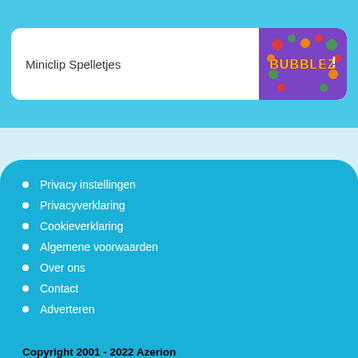Miniclip Spelletjes
[Figure (illustration): Bubblez! game logo on purple background with colorful bubbles]
Privacy instellingen
Privacyverklaring
Cookieverklaring
Algemene voorwaarden
Over ons
Contact
Adverteren
Copyright 2001 - 2022 Azerion